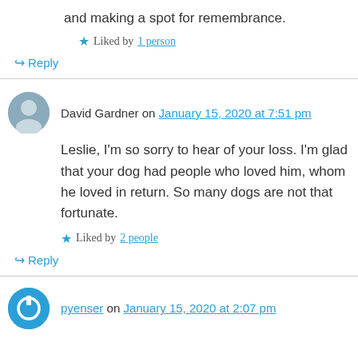and making a spot for remembrance.
Liked by 1 person
Reply
David Gardner on January 15, 2020 at 7:51 pm
Leslie, I'm so sorry to hear of your loss. I'm glad that your dog had people who loved him, whom he loved in return. So many dogs are not that fortunate.
Liked by 2 people
Reply
pyenser on January 15, 2020 at 2:07 pm